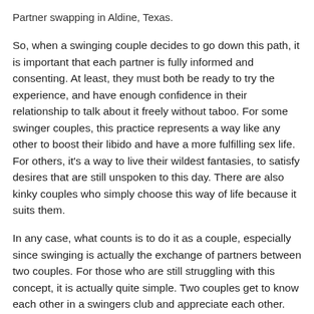Partner swapping in Aldine, Texas.
So, when a swinging couple decides to go down this path, it is important that each partner is fully informed and consenting. At least, they must both be ready to try the experience, and have enough confidence in their relationship to talk about it freely without taboo. For some swinger couples, this practice represents a way like any other to boost their libido and have a more fulfilling sex life. For others, it's a way to live their wildest fantasies, to satisfy desires that are still unspoken to this day. There are also kinky couples who simply choose this way of life because it suits them.
In any case, what counts is to do it as a couple, especially since swinging is actually the exchange of partners between two couples. For those who are still struggling with this concept, it is actually quite simple. Two couples get to know each other in a swingers club and appreciate each other. They then agree to have sex with each other, but by doing a partner exchange. This means that each partner will have the right to have sex with a member of the other couple, without it being infidelity. If you are a straight